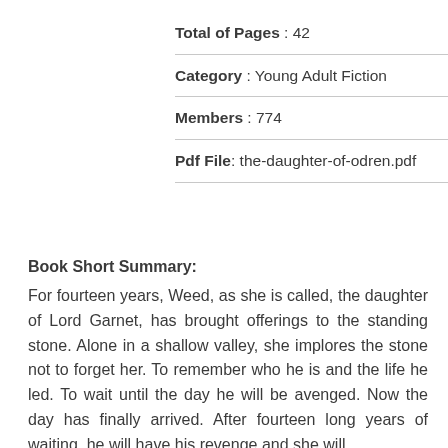Total of Pages : 42
Category : Young Adult Fiction
Members : 774
Pdf File: the-daughter-of-odren.pdf
Book Short Summary:
For fourteen years, Weed, as she is called, the daughter of Lord Garnet, has brought offerings to the standing stone. Alone in a shallow valley, she implores the stone not to forget her. To remember who he is and the life he led. To wait until the day he will be avenged. Now the day has finally arrived. After fourteen long years of waiting, he will have his revenge and she will